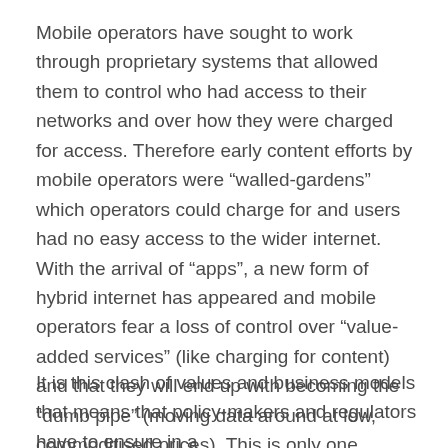Mobile operators have sought to work through proprietary systems that allowed them to control who had access to their networks and over how they were charged for access. Therefore early content efforts by mobile operators were “walled-gardens” which operators could charge for and users had no easy access to the wider internet. With the arrival of “apps”, a new form of hybrid internet has appeared and mobile operators fear a loss of control over “value-added services” (like charging for content) and that they will end up with becoming the “dumb pipe” (moving data around at low, commoditised prices). This is only one symptom of a broader struggle between the traditional values and business assumptions of the mobile operators and the values and assumptions of those who operate the internet.
It is this clash of values and business models that means that policy-makers and regulators have to ensure in a